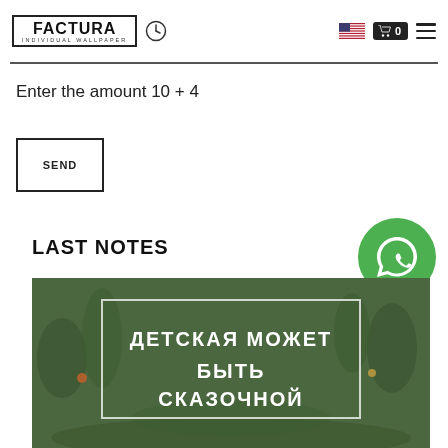FACTURA INDIVIDUAL WALLPAPER
Enter the amount 10 + 4
SEND
LAST NOTES
[Figure (photo): Blog post thumbnail showing a dark green wallpaper with forest animals and plants, with white text in a rectangle reading ДЕТСКАЯ МОЖЕТ БЫТЬ СКАЗОЧНОЙ]